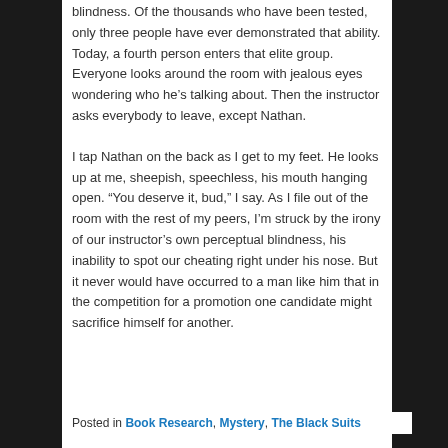blindness. Of the thousands who have been tested, only three people have ever demonstrated that ability. Today, a fourth person enters that elite group. Everyone looks around the room with jealous eyes wondering who he’s talking about. Then the instructor asks everybody to leave, except Nathan.
I tap Nathan on the back as I get to my feet. He looks up at me, sheepish, speechless, his mouth hanging open. “You deserve it, bud,” I say. As I file out of the room with the rest of my peers, I’m struck by the irony of our instructor’s own perceptual blindness, his inability to spot our cheating right under his nose. But it never would have occurred to a man like him that in the competition for a promotion one candidate might sacrifice himself for another.
Posted in Book Research, Mystery, The Black Suits